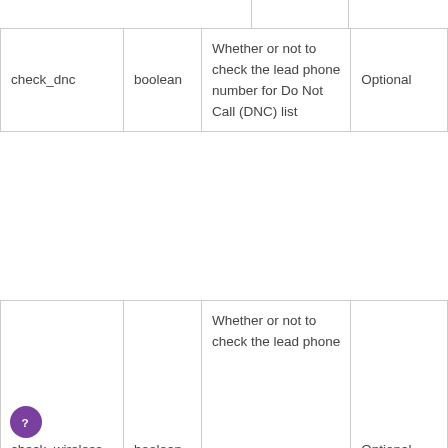| Parameter | Type | Description | Required |
| --- | --- | --- | --- |
| check_dnc | boolean | Whether or not to check the lead phone number for Do Not Call (DNC) list | Optional |
| check_wireless | boolean | Whether or not to check the lead phone | Optional |